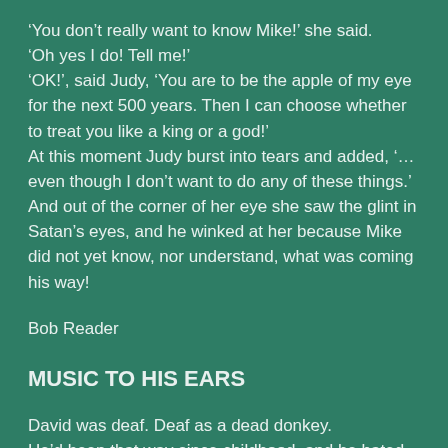'You don't really want to know Mike!' she said.
'Oh yes I do! Tell me!'
'OK!', said Judy, 'You are to be the apple of my eye for the next 500 years. Then I can choose whether to treat you like a king or a god!'
At this moment Judy burst into tears and added, '…even though I don't want to do any of these things.'
And out of the corner of her eye she saw the glint in Satan's eyes, and he winked at her because Mike did not yet know, nor understand, what was coming his way!
Bob Reader
MUSIC TO HIS EARS
David was deaf. Deaf as a dead donkey.
He'd been that way since childhood, and he hated it. It was like living locked inside a steel box. Yet he refused to wear a hearing aid.